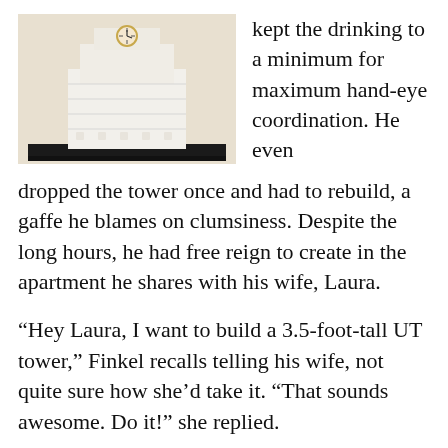[Figure (photo): A white decorative model of the UT Tower made from LEGO bricks, with a small clock face visible near the top, displayed on a black tray on a light-colored surface.]
kept the drinking to a minimum for maximum hand-eye coordination. He even dropped the tower once and had to rebuild, a gaffe he blames on clumsiness. Despite the long hours, he had free reign to create in the apartment he shares with his wife, Laura.

“Hey Laura, I want to build a 3.5-foot-tall UT tower,” Finkel recalls telling his wife, not quite sure how she’d take it. “That sounds awesome. Do it!” she replied.

The couple visited campus in April, and while they were here, they made a trip to the UT Tower to check